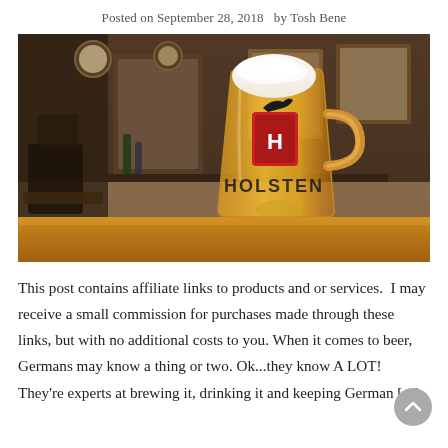Posted on September 28, 2018   by Tosh Bene
[Figure (photo): A large Holsten beer glass mug filled with golden lager and a white foam head, sitting on a wooden bar table inside a traditional pub with dark wood paneling, chairs, mirrors, and vintage framed pictures in the background.]
This post contains affiliate links to products and or services.  I may receive a small commission for purchases made through these links, but with no additional costs to you. When it comes to beer, Germans may know a thing or two. Ok...they know A LOT! They're experts at brewing it, drinking it and keeping German [...